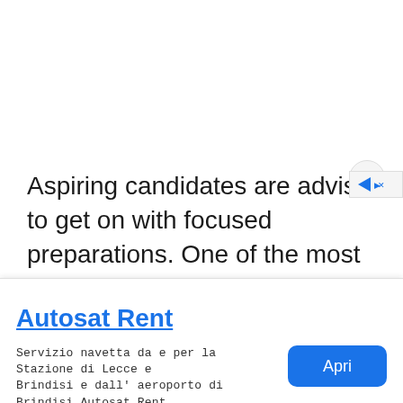Aspiring candidates are advised to get on with focused preparations. One of the most effective ways to start preparing for the exam is referring to previous year
[Figure (screenshot): Advertisement banner for Autosat Rent. Title: 'Autosat Rent' in blue underlined text. Body text: 'Servizio navetta da e per la Stazione di Lecce e Brindisi e dall' aeroporto di Brindisi Autosat Rent'. Blue 'Apri' button on the right. Close (x) button and AdChoices icon at top right.]